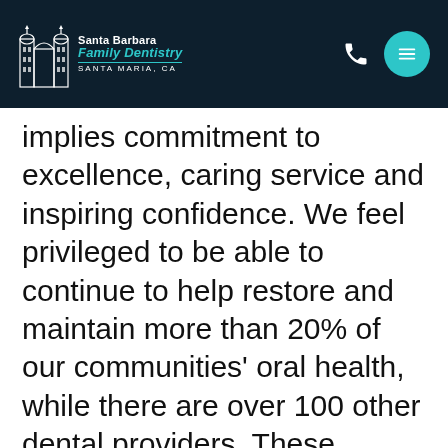[Figure (logo): Santa Barbara Family Dentistry logo with building icon and teal text, on dark navy header background]
implies commitment to excellence, caring service and inspiring confidence. We feel privileged to be able to continue to help restore and maintain more than 20% of our communities' oral health, while there are over 100 other dental providers. These numbers truly motivate us and we continually strive for excellence in our overall care.